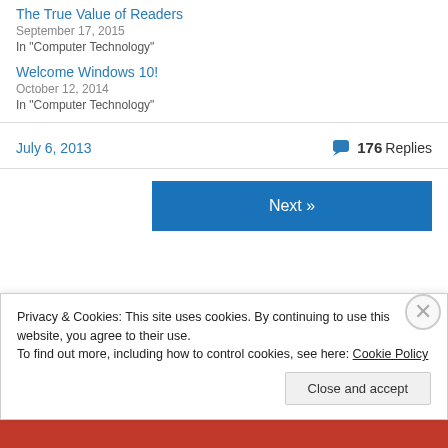The True Value of Readers
September 17, 2015
In "Computer Technology"
Welcome Windows 10!
October 12, 2014
In "Computer Technology"
July 6, 2013
176 Replies
Next »
Privacy & Cookies: This site uses cookies. By continuing to use this website, you agree to their use.
To find out more, including how to control cookies, see here: Cookie Policy
Close and accept